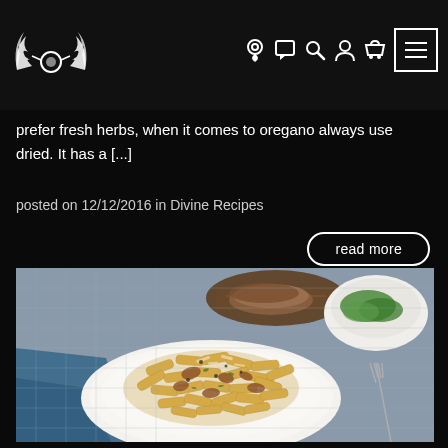[Figure (logo): Website logo: stylized wings with circular emblem, white on dark background]
[Figure (infographic): Navigation bar icons: location pin, speech bubble, search/magnifying glass, user profile, shopping basket, and hamburger menu button (three lines in a white rectangle)]
prefer fresh herbs, when it comes to oregano always use dried. It has a [...]
posted on 12/12/2016 in Divine Recipes
read more
[Figure (photo): Food photograph showing a white plate of penne pasta with meat sauce and grated cheese, garnished with herbs and black pepper. A blue cloth napkin is folded beneath the plate on a gray textured placemat. In the background are a wooden bread board with sliced bread and a white bowl with green salad. A fork is visible on the right side.]